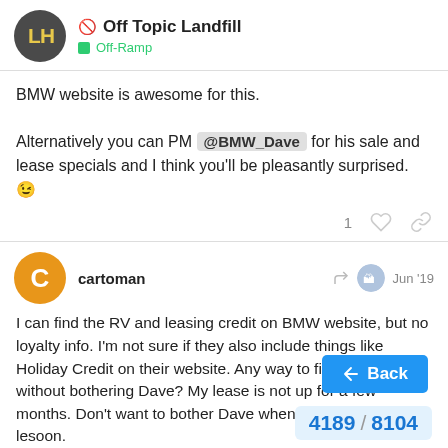Off Topic Landfill — Off-Ramp
BMW website is awesome for this.

Alternatively you can PM @BMW_Dave for his sale and lease specials and I think you'll be pleasantly surprised. 😉
1
cartoman — Jun '19
I can find the RV and leasing credit on BMW website, but no loyalty info. I'm not sure if they also include things like Holiday Credit on their website. Any way to find out loyalty without bothering Dave? My lease is not up for a few months. Don't want to bother Dave when I'm most likely not leasing soon.
Back
4189 / 8104